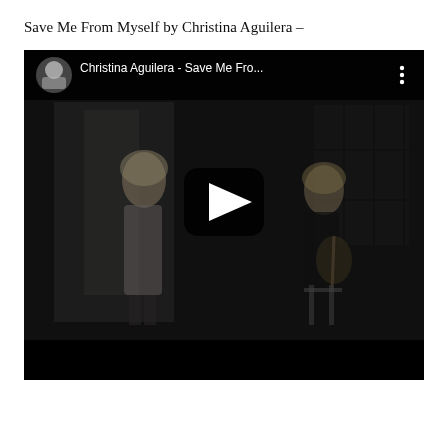Save Me From Myself by Christina Aguilera –
[Figure (screenshot): Embedded YouTube video player showing Christina Aguilera - Save Me Fro... with channel thumbnail, video title bar, three-dot menu, play button overlay on a dark music video scene with performers, and black bottom bar.]